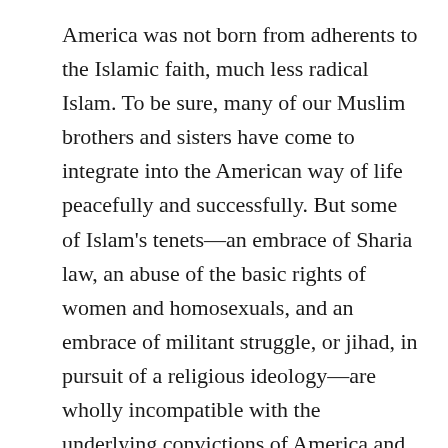America was not born from adherents to the Islamic faith, much less radical Islam. To be sure, many of our Muslim brothers and sisters have come to integrate into the American way of life peacefully and successfully. But some of Islam's tenets—an embrace of Sharia law, an abuse of the basic rights of women and homosexuals, and an embrace of militant struggle, or jihad, in pursuit of a religious ideology—are wholly incompatible with the underlying convictions of America and its culture. There is no role for radical Islam in any Western democracy, much less the United States.
Second, it is not the obligation of the nation's